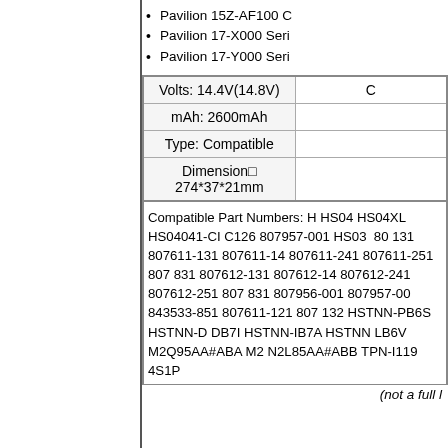Pavilion 15Z-AF100 C
Pavilion 17-X000 Series
Pavilion 17-Y000 Series
|  |  |
| --- | --- |
| Volts: 14.4V(14.8V) | C |
| mAh: 2600mAh |  |
| Type: Compatible |  |
| Dimension□ 274*37*21mm |  |
Compatible Part Numbers: H HS04 HS04XL HS04041-CI C126 807957-001 HS03 80 131 807611-131 807611-14 807611-241 807611-251 807 831 807612-131 807612-14 807612-241 807612-251 807 831 807956-001 807957-00 843533-851 807611-121 807 132 HSTNN-PB6S HSTNN-D DB7I HSTNN-IB7A HSTNN LB6V M2Q95AA#ABA M2 N2L85AA#ABB TPN-I119 4S1P
(not a full l